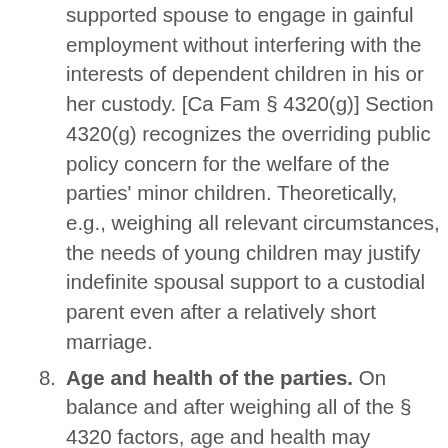supported spouse to engage in gainful employment without interfering with the interests of dependent children in his or her custody. [Ca Fam § 4320(g)] Section 4320(g) recognizes the overriding public policy concern for the welfare of the parties' minor children. Theoretically, e.g., weighing all relevant circumstances, the needs of young children may justify indefinite spousal support to a custodial parent even after a relatively short marriage.
Age and health of the parties. On balance and after weighing all of the § 4320 factors, age and health may warrant either an extension or withholding of support. Age and health considerations are also particularly relevant to the question of duration of …